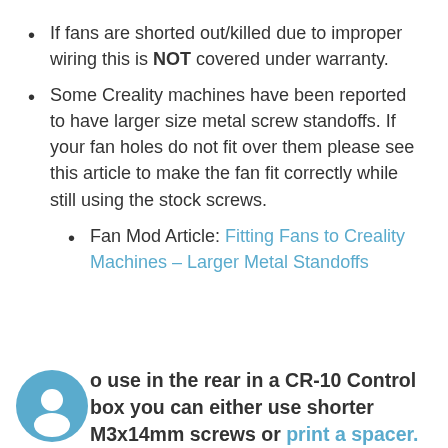If fans are shorted out/killed due to improper wiring this is NOT covered under warranty.
Some Creality machines have been reported to have larger size metal screw standoffs. If your fan holes do not fit over them please see this article to make the fan fit correctly while still using the stock screws.
Fan Mod Article: Fitting Fans to Creality Machines – Larger Metal Standoffs
o use in the rear in a CR-10 Control box you can either use shorter M3x14mm screws or print a spacer.